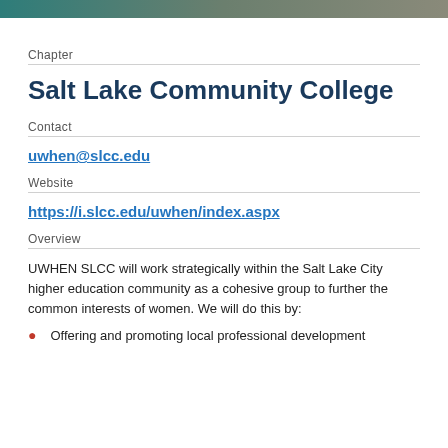Chapter
Salt Lake Community College
Contact
uwhen@slcc.edu
Website
https://i.slcc.edu/uwhen/index.aspx
Overview
UWHEN SLCC will work strategically within the Salt Lake City higher education community as a cohesive group to further the common interests of women. We will do this by:
Offering and promoting local professional development